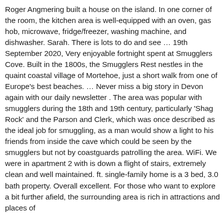Roger Angmering built a house on the island. In one corner of the room, the kitchen area is well-equipped with an oven, gas hob, microwave, fridge/freezer, washing machine, and dishwasher. Sarah. There is lots to do and see … 19th September 2020, Very enjoyable fortnight spent at Smugglers Cove. Built in the 1800s, the Smugglers Rest nestles in the quaint coastal village of Mortehoe, just a short walk from one of Europe's best beaches. … Never miss a big story in Devon again with our daily newsletter . The area was popular with smugglers during the 18th and 19th century, particularly 'Shag Rock' and the Parson and Clerk, which was once described as the ideal job for smuggling, as a man would show a light to his friends from inside the cave which could be seen by the smugglers but not by coastguards patrolling the area. WiFi. We were in apartment 2 with is down a flight of stairs, extremely clean and well maintained. ft. single-family home is a 3 bed, 3.0 bath property. Overall excellent. For those who want to explore a bit further afield, the surrounding area is rich in attractions and places of